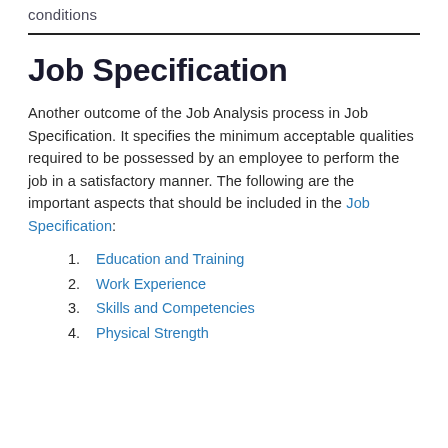conditions
Job Specification
Another outcome of the Job Analysis process in Job Specification. It specifies the minimum acceptable qualities required to be possessed by an employee to perform the job in a satisfactory manner. The following are the important aspects that should be included in the Job Specification:
1. Education and Training
2. Work Experience
3. Skills and Competencies
4. Physical Strength